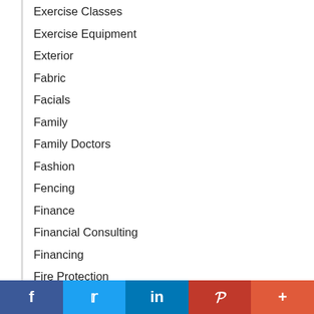Exercise Classes
Exercise Equipment
Exterior
Fabric
Facials
Family
Family Doctors
Fashion
Fencing
Finance
Financial Consulting
Financing
Fire Protection
Fireplace Services
f  Twitter  in  P  +